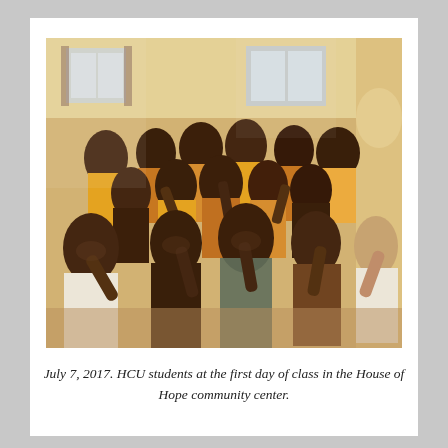[Figure (photo): A large group of children (HCU students) smiling and giving thumbs up inside a room, photographed on July 7, 2017, the first day of class in the House of Hope community center.]
July 7, 2017. HCU students at the first day of class in the House of Hope community center.